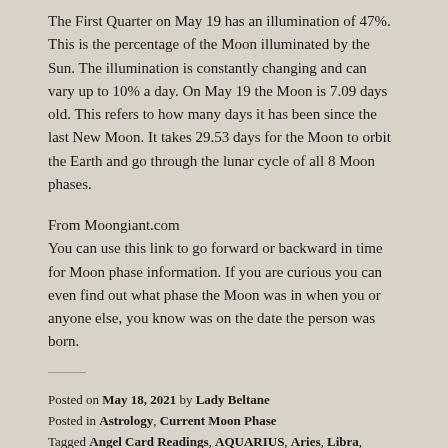The First Quarter on May 19 has an illumination of 47%. This is the percentage of the Moon illuminated by the Sun. The illumination is constantly changing and can vary up to 10% a day. On May 19 the Moon is 7.09 days old. This refers to how many days it has been since the last New Moon. It takes 29.53 days for the Moon to orbit the Earth and go through the lunar cycle of all 8 Moon phases.
From Moongiant.com
You can use this link to go forward or backward in time for Moon phase information. If you are curious you can even find out what phase the Moon was in when you or anyone else, you know was on the date the person was born.
Posted on May 18, 2021 by Lady Beltane
Posted in Astrology, Current Moon Phase
Tagged Angel Card Readings, AQUARIUS, Aries, Libra, Cancer, Candles, Capricorn, Celtic Quotes, Chants, Correspondences,